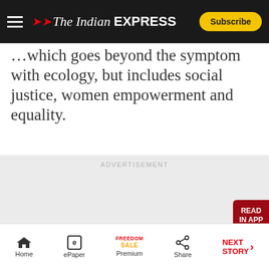The Indian Express — Subscribe
…which goes beyond the symptom with ecology, but includes social justice, women empowerment and equality.
[Figure (other): Advertisement placeholder block with grey background labeled ADVERTISEMENT]
Home | ePaper | Premium (FREEDOM SALE) | Share | NEXT STORY